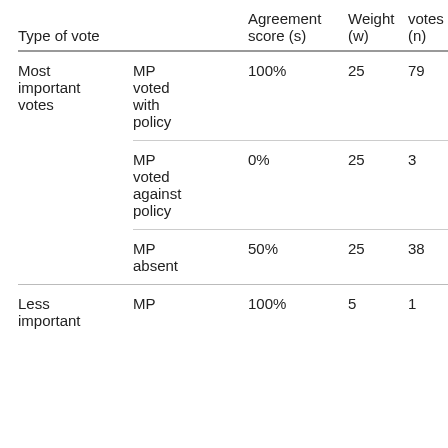| Type of vote |  | Agreement score (s) | Weight (w) | votes (n) |
| --- | --- | --- | --- | --- |
| Most important votes | MP voted with policy | 100% | 25 | 79 |
|  | MP voted against policy | 0% | 25 | 3 |
|  | MP absent | 50% | 25 | 38 |
| Less important votes | MP ... | 100% | 5 | 1 |